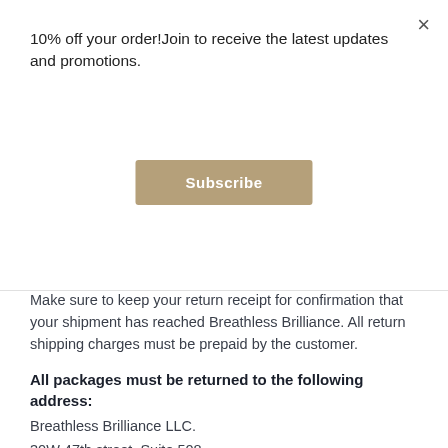10% off your order!Join to receive the latest updates and promotions.
Subscribe
Make sure to keep your return receipt for confirmation that your shipment has reached Breathless Brilliance. All return shipping charges must be prepaid by the customer.
All packages must be returned to the following address:
Breathless Brilliance LLC.
30W 47th street, Suite 508.
New York, NY 10036
If you require assistance, please contact us at +1.631.946.7804, Monday through Friday from 10.00 A.M. to 06.00 P.M. EST.